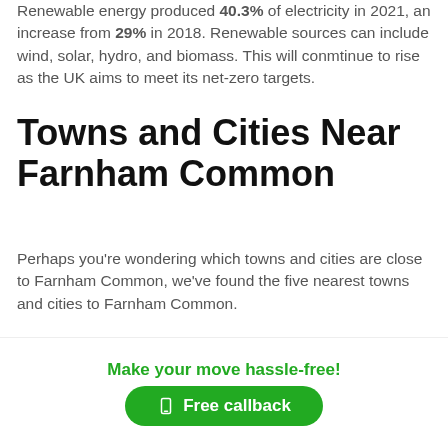Renewable energy produced 40.3% of electricity in 2021, an increase from 29% in 2018. Renewable sources can include wind, solar, hydro, and biomass. This will conmtinue to rise as the UK aims to meet its net-zero targets.
Towns and Cities Near Farnham Common
Perhaps you're wondering which towns and cities are close to Farnham Common, we've found the five nearest towns and cities to Farnham Common.
Closest five municipalities to Farnham Common
Make your move hassle-free!
Free callback